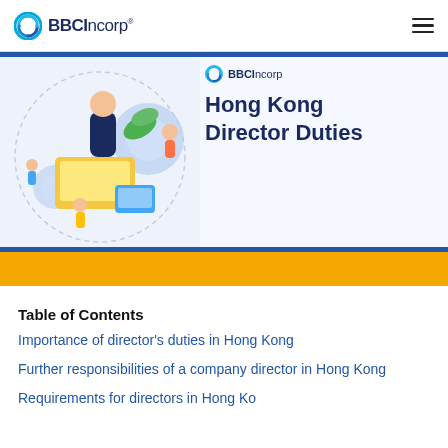BBCIncorp®
[Figure (illustration): Business people illustration with gears and laptop, BBCIncorp logo and title 'Hong Kong Director Duties']
Table of Contents
Importance of director's duties in Hong Kong
Further responsibilities of a company director in Hong Kong
Requirements for directors in Hong Kong